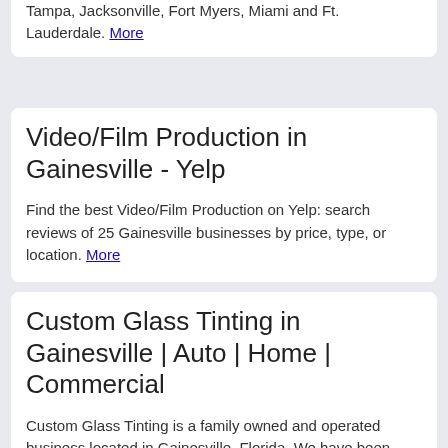Tampa, Jacksonville, Fort Myers, Miami and Ft. Lauderdale. More
Video/Film Production in Gainesville - Yelp
Find the best Video/Film Production on Yelp: search reviews of 25 Gainesville businesses by price, type, or location. More
Custom Glass Tinting in Gainesville | Auto | Home | Commercial
Custom Glass Tinting is a family owned and operated business located in Gainesville, Florida. We have been serving the Gainesville...